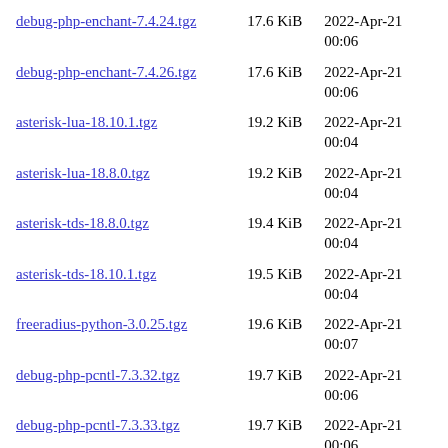| Filename | Size | Date |
| --- | --- | --- |
| debug-php-enchant-7.4.24.tgz | 17.6 KiB | 2022-Apr-21 00:06 |
| debug-php-enchant-7.4.26.tgz | 17.6 KiB | 2022-Apr-21 00:06 |
| asterisk-lua-18.10.1.tgz | 19.2 KiB | 2022-Apr-21 00:04 |
| asterisk-lua-18.8.0.tgz | 19.2 KiB | 2022-Apr-21 00:04 |
| asterisk-tds-18.8.0.tgz | 19.4 KiB | 2022-Apr-21 00:04 |
| asterisk-tds-18.10.1.tgz | 19.5 KiB | 2022-Apr-21 00:04 |
| freeradius-python-3.0.25.tgz | 19.6 KiB | 2022-Apr-21 00:07 |
| debug-php-pcntl-7.3.32.tgz | 19.7 KiB | 2022-Apr-21 00:06 |
| debug-php-pcntl-7.3.33.tgz | 19.7 KiB | 2022-Apr-21 00:06 |
| debug-php-pcntl-7.3.31.tgz | 19.7 KiB | 2022-Apr-21 00:06 |
| freeradius-python3-3.0.25.tgz | 19.8 KiB | 2022-Apr-21 00:07 |